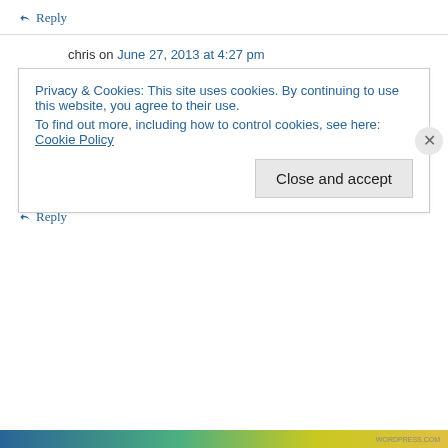↳ Reply
chris on June 27, 2013 at 4:27 pm
A condom or condoms. You can easily carry 1,5 litre of water in it. You can also use it as a waterproof bag for your papers, medicine etc in extreme conditions.
↳ Reply
Privacy & Cookies: This site uses cookies. By continuing to use this website, you agree to their use.
To find out more, including how to control cookies, see here: Cookie Policy
Close and accept